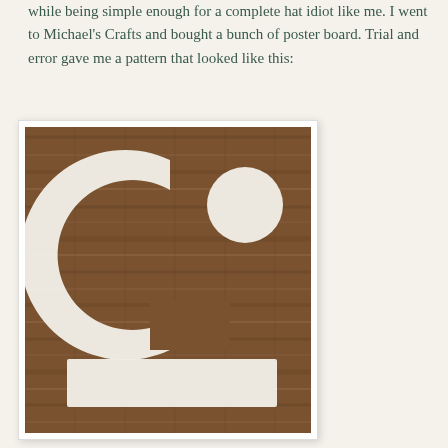while being simple enough for a complete hat idiot like me. I went to Michael's Crafts and bought a bunch of poster board. Trial and error gave me a pattern that looked like this:
[Figure (photo): A photo of white poster board pieces cut into a 'Gi' logo shape (a large C/G shape and a circle) laid on a wood-grain surface, with a rectangular white strip below them.]